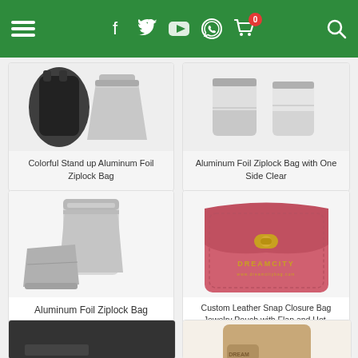[Figure (screenshot): E-commerce website header navigation bar with hamburger menu, social media icons (Facebook, Twitter, YouTube, WhatsApp), shopping cart with badge showing 0, and search icon, all on green background]
[Figure (photo): Colorful Stand up Aluminum Foil Ziplock Bag - dark colored bags and silver pouches]
Colorful Stand up Aluminum Foil Ziplock Bag
[Figure (photo): Aluminum Foil Ziplock Bag with One Side Clear - silver and clear bags]
Aluminum Foil Ziplock Bag with One Side Clear
[Figure (photo): Aluminum Foil Ziplock Bag - silver stand-up pouches]
Aluminum Foil Ziplock Bag
[Figure (photo): Custom Leather Snap Closure Bag Jewelry Pouch with Flap and Hot-stamping Foil Logo - pink leather pouch with gold clasp and DREAMCITY branding]
Custom Leather Snap Closure Bag Jewelry Pouch with Flap and Hot-stamping Foil Logo
[Figure (photo): Partial view of dark bag product at bottom left]
[Figure (photo): Partial view of tan/beige leather snap bag product at bottom right]